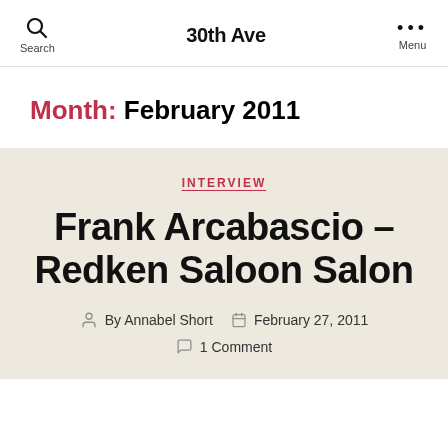30th Ave
Month: February 2011
INTERVIEW
Frank Arcabascio – Redken Saloon Salon
By Annabel Short   February 27, 2011   1 Comment